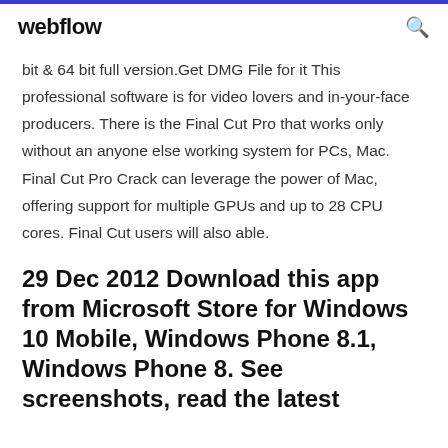webflow
bit & 64 bit full version.Get DMG File for it This professional software is for video lovers and in-your-face producers. There is the Final Cut Pro that works only without an anyone else working system for PCs, Mac. Final Cut Pro Crack can leverage the power of Mac, offering support for multiple GPUs and up to 28 CPU cores. Final Cut users will also able.
29 Dec 2012 Download this app from Microsoft Store for Windows 10 Mobile, Windows Phone 8.1, Windows Phone 8. See screenshots, read the latest